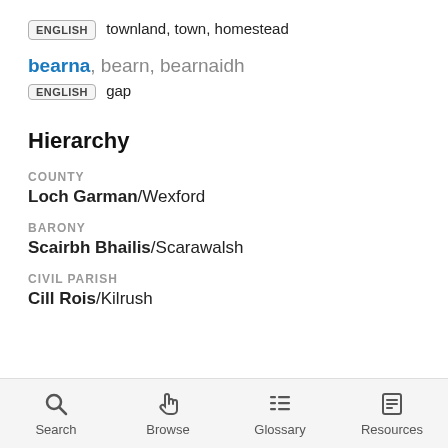ENGLISH  townland, town, homestead
bearna, bearn, bearnaidh
ENGLISH  gap
Hierarchy
COUNTY
Loch Garman/Wexford
BARONY
Scairbh Bhailis/Scarawalsh
CIVIL PARISH
Cill Rois/Kilrush
Search  Browse  Glossary  Resources